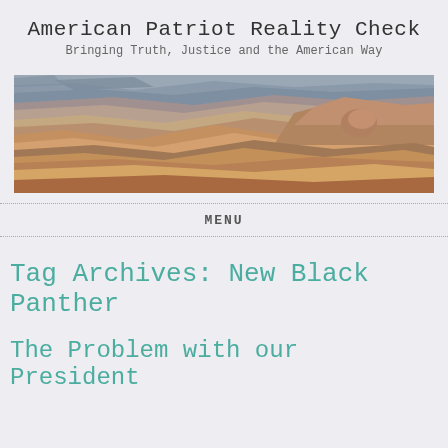American Patriot Reality Check
Bringing Truth, Justice and the American Way
[Figure (photo): Panoramic aerial photograph of the Grand Canyon showing layered red and brown rock formations with canyon ridges and mesas]
MENU
Tag Archives: New Black Panther
The Problem with our President